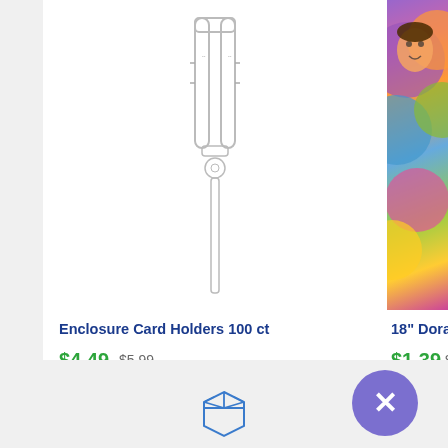[Figure (photo): Product image of clear plastic enclosure card holders]
Enclosure Card Holders 100 ct
$4.49  $5.99
In stock, 28 units
[Figure (photo): Partial view of 18" Dora and Friends balloon product image]
18" Dora and Friends
$1.39  $1.85
In stock, 6 units
[Figure (other): Choose options button]
[Figure (other): Add to cart button (partially visible)]
[Figure (other): Close button with X icon (purple circle)]
[Figure (other): Package/box icon at bottom center]